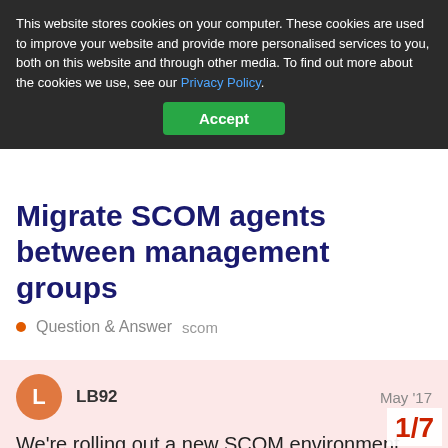This website stores cookies on your computer. These cookies are used to improve your website and provide more personalised services to you, both on this website and through other media. To find out more about the cookies we use, see our Privacy Policy.
Accept
Migrate SCOM agents between management groups
Question & Answer  scom
LB92  May '17
We're rolling out a new SCOM environment, and I need to migrate/multi-home agents between our existing management group and the new one. Is there a good way of doing this wi... logging on and modifying the MO
1/7